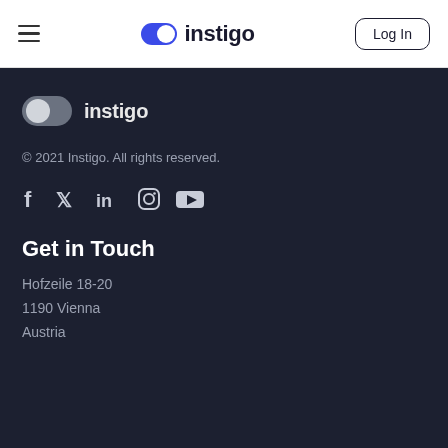instigo — Log In
[Figure (logo): Instigo logo with toggle switch icon and 'instigo' wordmark in footer]
© 2021 Instigo. All rights reserved.
[Figure (other): Social media icons: Facebook, Twitter, LinkedIn, Instagram, YouTube]
Get in Touch
Hofzeile 18-20
1190 Vienna
Austria